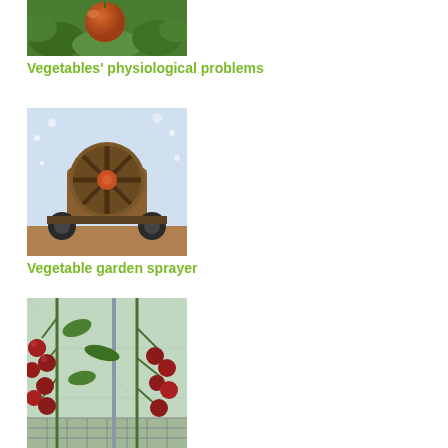[Figure (photo): Close-up photo of a ripe orange/brown tomato on a plant with green leaves — vegetables physiological problems]
Vegetables' physiological problems
[Figure (photo): Agricultural sprayer machine with a large fan/turbine mounted on wheels inside a greenhouse or field — vegetable garden sprayer]
Vegetable garden sprayer
[Figure (photo): Rows of cherry tomato plants loaded with red tomatoes growing on vines in a greenhouse setting]